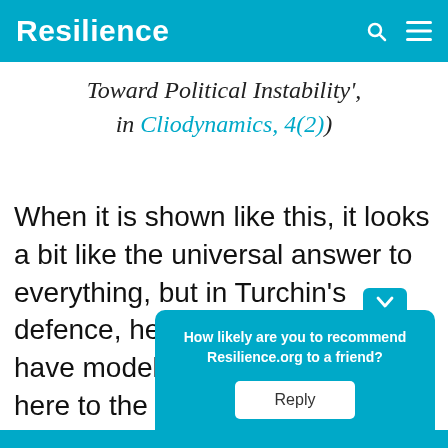Resilience
Toward Political Instability', in Cliodynamics, 4(2))
When it is shown like this, it looks a bit like the universal answer to everything, but in Turchin's defence, he and his researchers have modelled the relationships here to the point where they are quantifiable. Turchin explai…
How likely are you to recommend Resilience.org to a friend? Reply